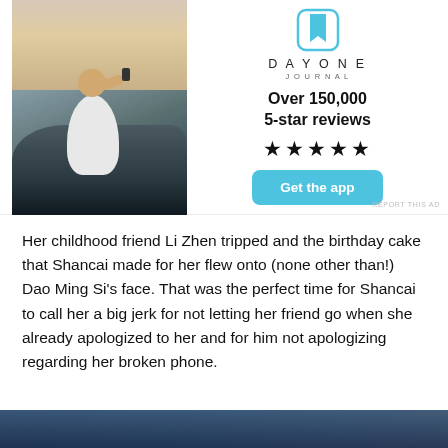[Figure (photo): Advertisement banner with a photo of a person sitting on rocks taking a photo at sunset, alongside the Day One Journal app branding, '5-star reviews' text, star rating, and a 'Get the app' button.]
Her childhood friend Li Zhen tripped and the birthday cake that Shancai made for her flew onto (none other than!) Dao Ming Si’s face. That was the perfect time for Shancai to call her a big jerk for not letting her friend go when she already apologized to her and for him not apologizing regarding her broken phone.
[Figure (photo): Partial bottom image strip, blue-toned, appears to be a scene with people.]